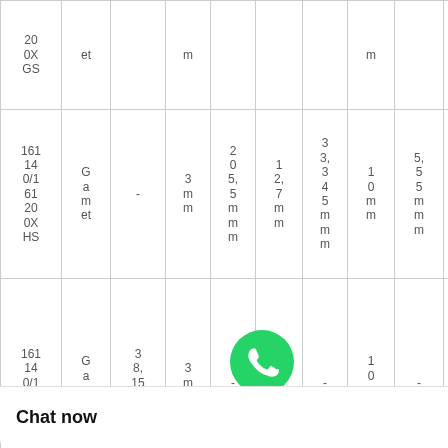| 200XGSGS | et | m |  |  |  | m |  | m |
| 161140/16120 0XHS | Gamet | - | 3mm | 205,5mm | 12,7mm | 33,345mm | 10mm | 5,55mm | 140mm |
| 161140/16120 0X... | Gamet | 38,15mm | 3mm | - | - | - | 10mm | - | 140mm |
|  |  |  |  |  |  |  |  |  | 70 |
[Figure (logo): WhatsApp green phone icon with white handset]
WhatsApp Online
Chat now